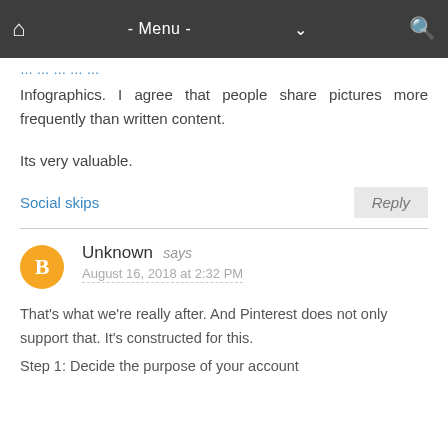- Menu -
Infographics. I agree that people share pictures more frequently than written content.
Its very valuable.
Social skips
Unknown says
August 16, 2018 at 2:32 PM
That's what we're really after. And Pinterest does not only support that. It's constructed for this.
Step 1: Decide the purpose of your account